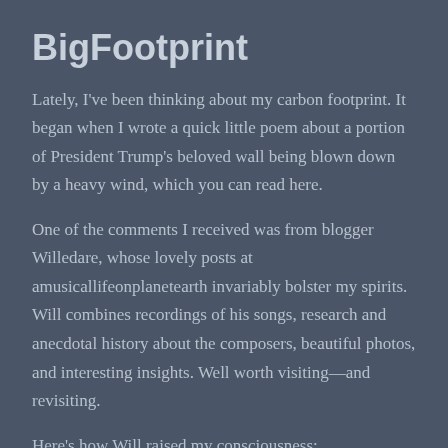BigFootprint
Lately, I've been thinking about my carbon footprint. It began when I wrote a quick little poem about a portion of President Trump's beloved wall being blown down by a heavy wind, which you can read here.
One of the comments I received was from blogger Willedare, whose lovely posts at amusicallifeonplanetearth invariably bolster my spirits. Will combines recordings of his songs, research and anecdotal history about the composers, beautiful photos, and interesting insights. Well worth visiting—and revisiting.
Here's how Will raised my consciousness: